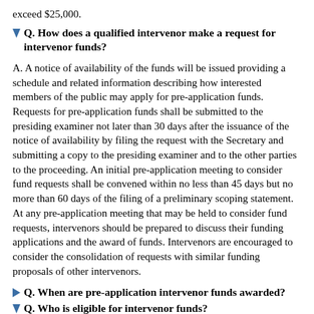exceed $25,000.
Q. How does a qualified intervenor make a request for intervenor funds?
A. A notice of availability of the funds will be issued providing a schedule and related information describing how interested members of the public may apply for pre-application funds. Requests for pre-application funds shall be submitted to the presiding examiner not later than 30 days after the issuance of the notice of availability by filing the request with the Secretary and submitting a copy to the presiding examiner and to the other parties to the proceeding. An initial pre-application meeting to consider fund requests shall be convened within no less than 45 days but no more than 60 days of the filing of a preliminary scoping statement. At any pre-application meeting that may be held to consider fund requests, intervenors should be prepared to discuss their funding applications and the award of funds. Intervenors are encouraged to consider the consolidation of requests with similar funding proposals of other intervenors.
Q. When are pre-application intervenor funds awarded?
Q. Who is eligible for intervenor funds?
A. All municipal and local parties are eligible. The presiding